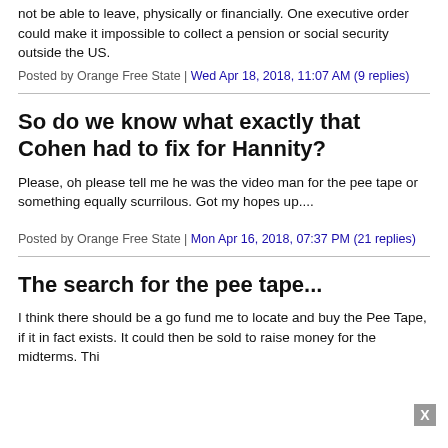not be able to leave, physically or financially. One executive order could make it impossible to collect a pension or social security outside the US.
Posted by Orange Free State | Wed Apr 18, 2018, 11:07 AM (9 replies)
So do we know what exactly that Cohen had to fix for Hannity?
Please, oh please tell me he was the video man for the pee tape or something equally scurrilous. Got my hopes up....
Posted by Orange Free State | Mon Apr 16, 2018, 07:37 PM (21 replies)
The search for the pee tape...
I think there should be a go fund me to locate and buy the Pee Tape, if it in fact exists. It could then be sold to raise money for the midterms. Thi